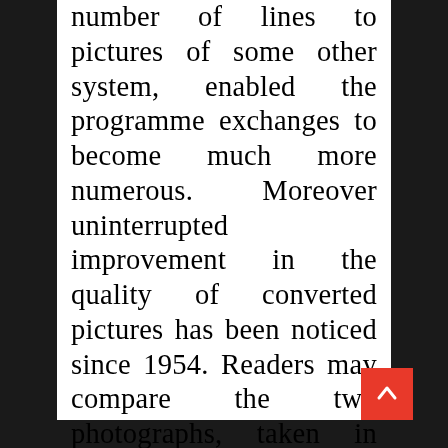number of lines to pictures of some other system, enabled the programme exchanges to become much more numerous. Moreover uninterrupted improvement in the quality of converted pictures has been noticed since 1954. Readers may compare the two photographs, taken in 1954 and 1959, of scenes televised near the Arc de Triomphe in Paris and photographed off the screen in Milano, after conversion from 819 to 625 lines.